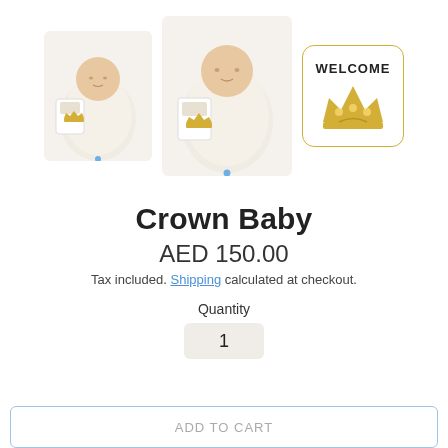[Figure (photo): Three product images: two photos of a newborn baby wrapped in a white swaddle with a 'Welcome Baby' crown tag, and one square icon with 'WELCOME' text and a gold crown illustration on white background with gold border.]
Crown Baby
AED 150.00
Tax included. Shipping calculated at checkout.
Quantity
1
ADD TO CART